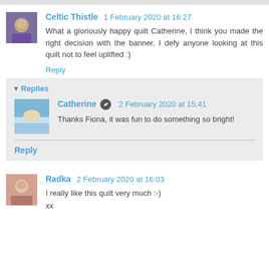Celtic Thistle  1 February 2020 at 16:27
What a gloriously happy quilt Catherine, I think you made the right decision with the banner, I defy anyone looking at this quilt not to feel uplifted :)
Reply
Replies
Catherine  2 February 2020 at 15:41
Thanks Fiona, it was fun to do something so bright!
Reply
Radka  2 February 2020 at 16:03
I really like this quilt very much :-)
xx